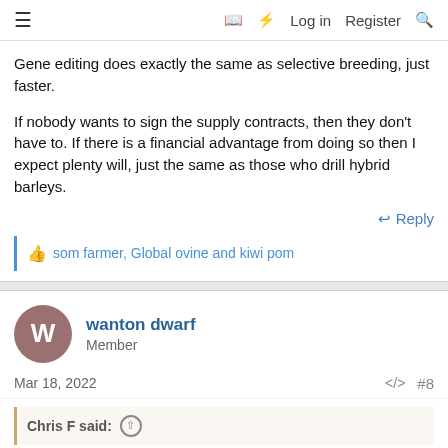≡  📖 ⚡ Log in  Register  🔍
Gene editing does exactly the same as selective breeding, just faster.
If nobody wants to sign the supply contracts, then they don't have to. If there is a financial advantage from doing so then I expect plenty will, just the same as those who drill hybrid barleys.
↩ Reply
👍 som farmer, Global ovine and kiwi pom
wanton dwarf
Member
Mar 18, 2022  #8
Chris F said: ↑